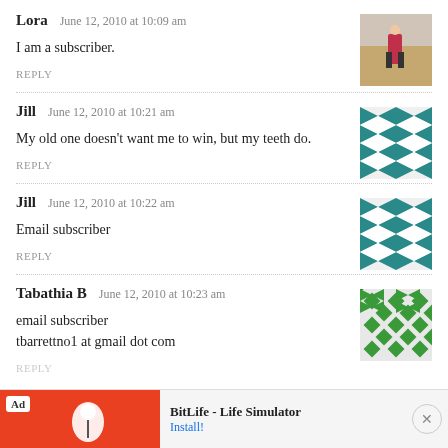Lora   June 12, 2010 at 10:09 am
I am a subscriber.
REPLY
[Figure (photo): User avatar photo of Lora, person in red outdoors]
Jill   June 12, 2010 at 10:21 am
My old one doesn't want me to win, but my teeth do.
REPLY
[Figure (illustration): Teal geometric pattern avatar for Jill]
Jill   June 12, 2010 at 10:22 am
Email subscriber
REPLY
[Figure (illustration): Teal geometric pattern avatar for Jill]
Tabathia B   June 12, 2010 at 10:23 am
email subscriber
tbarrettno1 at gmail dot com
REPLY
[Figure (illustration): Green diamond pattern avatar for Tabathia B]
Ad: BitLife - Life Simulator   Install!